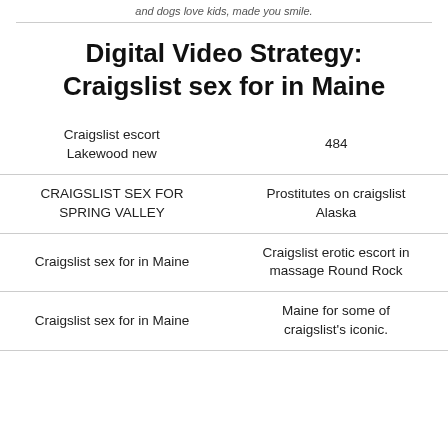and dogs love kids, made you smile.
Digital Video Strategy: Craigslist sex for in Maine
|  |  |
| --- | --- |
| Craigslist escort
Lakewood new | 484 |
| CRAIGSLIST SEX FOR
SPRING VALLEY | Prostitutes on craigslist
Alaska |
| Craigslist sex for in Maine | Craigslist erotic escort in
massage Round Rock |
| Craigslist sex for in Maine | Maine for some of
craigslist's iconic. |